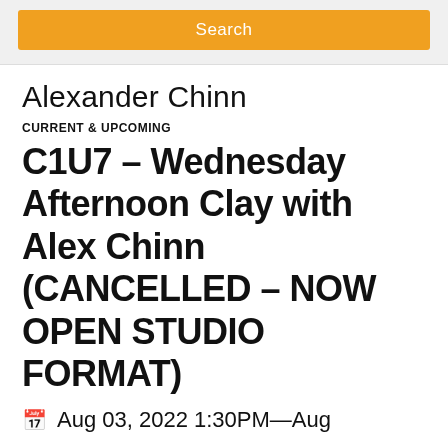Search
Alexander Chinn
CURRENT & UPCOMING
C1U7 – Wednesday Afternoon Clay with Alex Chinn (CANCELLED – NOW OPEN STUDIO FORMAT)
Aug 03, 2022 1:30PM—Aug